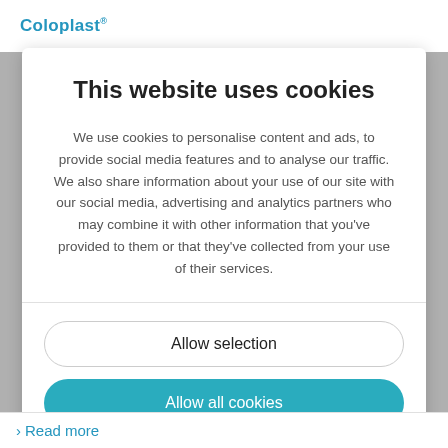Coloplast®
This website uses cookies
We use cookies to personalise content and ads, to provide social media features and to analyse our traffic. We also share information about your use of our site with our social media, advertising and analytics partners who may combine it with other information that you've provided to them or that they've collected from your use of their services.
Allow selection
Allow all cookies
> Read more